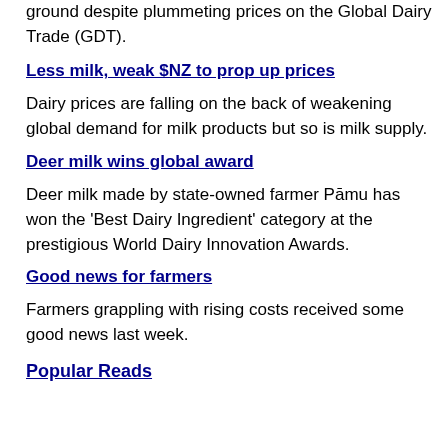ground despite plummeting prices on the Global Dairy Trade (GDT).
Less milk, weak $NZ to prop up prices
Dairy prices are falling on the back of weakening global demand for milk products but so is milk supply.
Deer milk wins global award
Deer milk made by state-owned farmer Pāmu has won the 'Best Dairy Ingredient' category at the prestigious World Dairy Innovation Awards.
Good news for farmers
Farmers grappling with rising costs received some good news last week.
Popular Reads